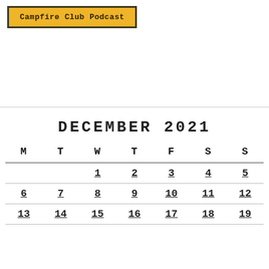[Figure (logo): Campfire Club Podcast logo button with gold/yellow background and dark border]
DECEMBER 2021
| M | T | W | T | F | S | S |
| --- | --- | --- | --- | --- | --- | --- |
|  |  | 1 | 2 | 3 | 4 | 5 |
| 6 | 7 | 8 | 9 | 10 | 11 | 12 |
| 13 | 14 | 15 | 16 | 17 | 18 | 19 |